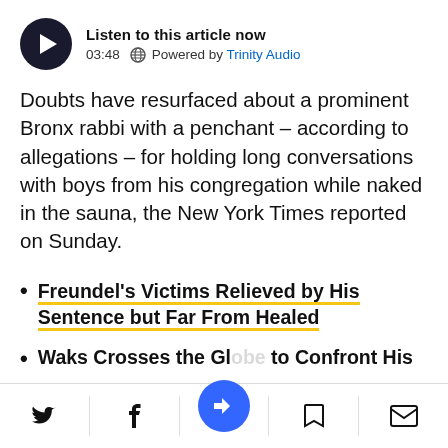[Figure (infographic): Audio player widget: dark circular play button, title 'Listen to this article now', duration '03:48', globe icon, 'Powered by Trinity Audio' text]
Doubts have resurfaced about a prominent Bronx rabbi with a penchant – according to allegations – for holding long conversations with boys from his congregation while naked in the sauna, the New York Times reported on Sunday.
Freundel's Victims Relieved by His Sentence but Far From Healed
Waks Crosses the Gl[obe] to Confront His
[Figure (infographic): Bottom toolbar with Twitter, Facebook, notification (blue circle with arrow icon), bookmark, and email/envelope icons]